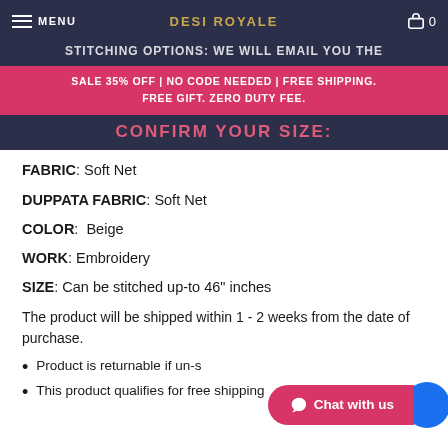MENU  DESI ROYALE  0
STITCHING OPTIONS: WE WILL EMAIL YOU THE
SALE 35% OFF | NO CODE NEEDED | FREE SHIPPING. FREE GIFT. ZERO DUTY FEE.
CONFIRM YOUR SIZE:
FABRIC: Soft Net
DUPPATA FABRIC: Soft Net
COLOR: Beige
WORK: Embroidery
SIZE: Can be stitched up-to 46" inches
The product will be shipped within 1 - 2 weeks from the date of purchase.
Product is returnable if un-stitched.
This product qualifies for free shipping.